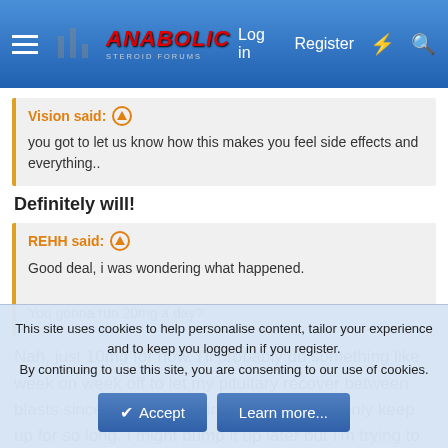Anabolic Steroid Forums — Log in | Register
Vision said: ↑
you got to let us know how this makes you feel side effects and everything..
Definitely will!
REHH said: ↑
Good deal, i was wondering what happened.
You gonna run 20mg a day?
Nah, just 10mg for now. I'll probably do something like week on week off to let my pituitary recover between blasts since the science kinda shows it can only keep up for so long. I might bump it up later but I'm trying to diet hard again and I
This site uses cookies to help personalise content, tailor your experience and to keep you logged in if you register.
By continuing to use this site, you are consenting to our use of cookies.
Accept  Learn more...